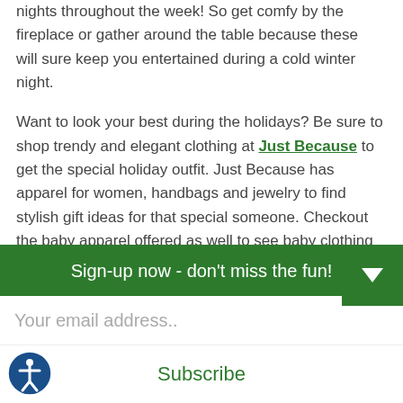nights throughout the week! So get comfy by the fireplace or gather around the table because these will sure keep you entertained during a cold winter night.
Want to look your best during the holidays? Be sure to shop trendy and elegant clothing at Just Because to get the special holiday outfit. Just Because has apparel for women, handbags and jewelry to find stylish gift ideas for that special someone. Checkout the baby apparel offered as well to see baby clothing
Sign-up now - don't miss the fun!
Your email address..
Subscribe